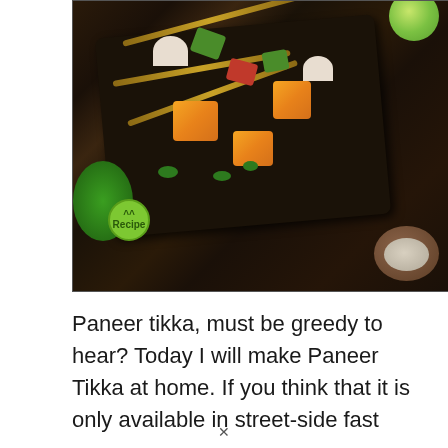[Figure (photo): Paneer tikka skewers on a dark grill tray, with colorful vegetables (green capsicum, red pepper, onion), fresh cilantro, lime wedge, and a bowl of dipping sauce on a dark background. A green recipe logo is visible at the bottom left of the image.]
Paneer tikka, must be greedy to hear? Today I will make Paneer Tikka at home. If you think that it is only available in street-side fast